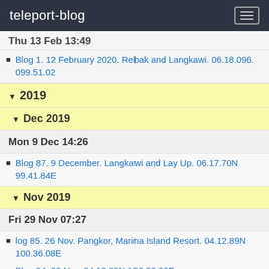teleport-blog
Thu 13 Feb 13:49
Blog 1. 12 February 2020. Rebak and Langkawi. 06.18.096. 099.51.02
2019
Dec 2019
Mon 9 Dec 14:26
Blog 87. 9 December. Langkawi and Lay Up. 06.17.70N 99.41.84E
Nov 2019
Fri 29 Nov 07:27
log 85. 26 Nov. Pangkor, Marina Island Resort. 04.12.89N 100.36.08E
Blog 84. 22 Nov. 04.12.89N 100.36.08E
Thu 21 Nov 02:22
Blog 83.
Fri 15 Nov 08:06